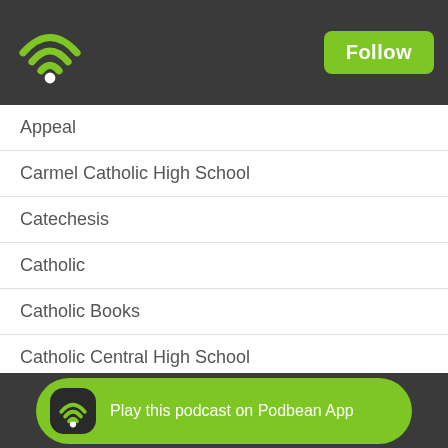[Figure (logo): Podbean WiFi/podcast icon in green on dark header]
Follow
Appeal
Carmel Catholic High School
Catechesis
Catholic
Catholic Books
Catholic Central High School
Catholic Education
Christ's New Generation
Christian
Christian Music
Christian Persecution
Christmas Music
Conversion
Play this podcast on Podbean App